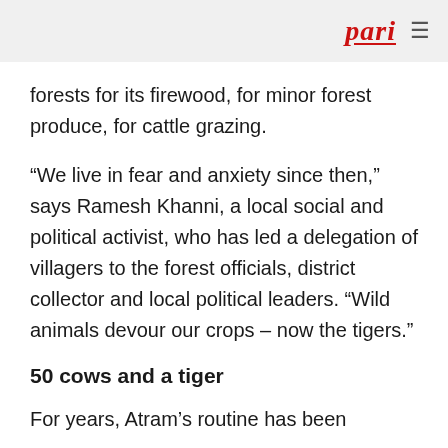pari
forests for its firewood, for minor forest produce, for cattle grazing.
“We live in fear and anxiety since then,” says Ramesh Khanni, a local social and political activist, who has led a delegation of villagers to the forest officials, district collector and local political leaders. “Wild animals devour our crops – now the tigers.”
50 cows and a tiger
For years, Atram’s routine has been